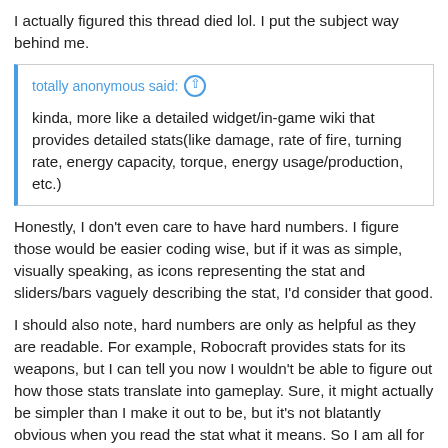I actually figured this thread died lol. I put the subject way behind me.
totally anonymous said: ↑

kinda, more like a detailed widget/in-game wiki that provides detailed stats(like damage, rate of fire, turning rate, energy capacity, torque, energy usage/production, etc.)
Honestly, I don't even care to have hard numbers. I figure those would be easier coding wise, but if it was as simple, visually speaking, as icons representing the stat and sliders/bars vaguely describing the stat, I'd consider that good.
I should also note, hard numbers are only as helpful as they are readable. For example, Robocraft provides stats for its weapons, but I can tell you now I wouldn't be able to figure out how those stats translate into gameplay. Sure, it might actually be simpler than I make it out to be, but it's not blatantly obvious when you read the stat what it means. So I am all for some stats in the block menu UI, but if those stats aren't inherently self-explanatory, then something more user-friendly (i.e. the bar